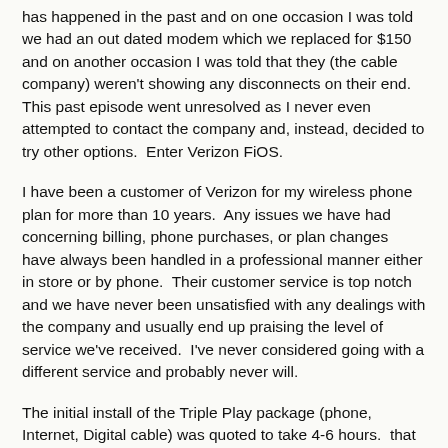has happened in the past and on one occasion I was told we had an out dated modem which we replaced for $150 and on another occasion I was told that they (the cable company) weren't showing any disconnects on their end.  This past episode went unresolved as I never even attempted to contact the company and, instead, decided to try other options.  Enter Verizon FiOS.
I have been a customer of Verizon for my wireless phone plan for more than 10 years.  Any issues we have had concerning billing, phone purchases, or plan changes have always been handled in a professional manner either in store or by phone.  Their customer service is top notch and we have never been unsatisfied with any dealings with the company and usually end up praising the level of service we've received.  I've never considered going with a different service and probably never will.
The initial install of the Triple Play package (phone, Internet, Digital cable) was quoted to take 4-6 hours.  that was a little daunting but ended up only taking 3.5 hours for the entire job minus the burying of the cable which is still in the